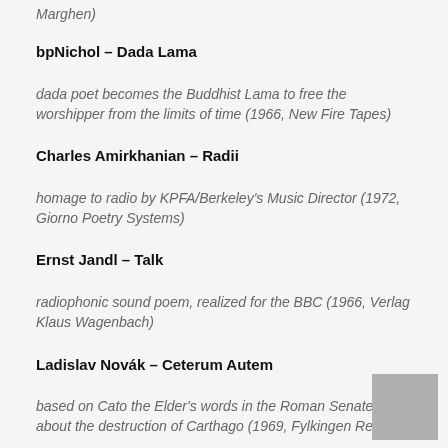Marghen)
bpNichol – Dada Lama
dada poet becomes the Buddhist Lama to free the worshipper from the limits of time (1966, New Fire Tapes)
Charles Amirkhanian – Radii
homage to radio by KPFA/Berkeley's Music Director (1972, Giorno Poetry Systems)
Ernst Jandl – Talk
radiophonic sound poem, realized for the BBC (1966, Verlag Klaus Wagenbach)
Ladislav Novák – Ceterum Autem
based on Cato the Elder's words in the Roman Senate about the destruction of Carthago (1969, Fylkingen Records)